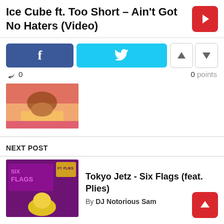Ice Cube ft. Too Short – Ain't Got No Haters (Video)
[Figure (screenshot): Facebook share button (blue), Twitter share button (cyan), upvote and downvote arrow buttons]
0   0 points
[Figure (photo): Thumbnail image showing a woman in a yellow outfit on a pink background]
NEXT POST
[Figure (illustration): Six Flags album art thumbnail with purple background and cartoon character]
Tokyo Jetz - Six Flags (feat. Plies)
By DJ Notorious Sam